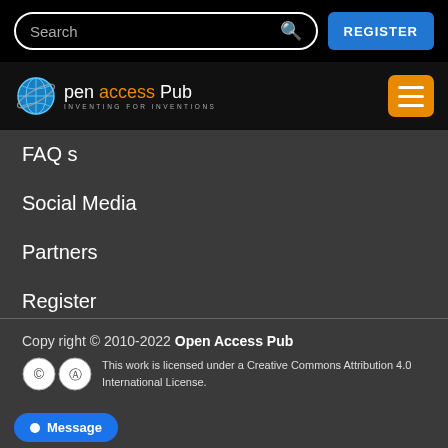Search | REGISTER
[Figure (logo): Open Access Pub logo with globe icon and tagline INVENTING FOR INVENTIONS, plus hamburger menu button]
FAQ s
Social Media
Partners
Register
Subscribe for Updates
Sitemap
Contact Us
Copy right © 2010-2022 Open Access Pub. This work is licensed under a Creative Commons Attribution 4.0 International License.
Message